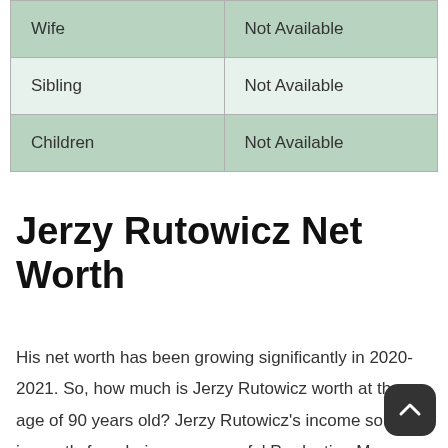| Wife | Not Available |
| Sibling | Not Available |
| Children | Not Available |
Jerzy Rutowicz Net Worth
His net worth has been growing significantly in 2020-2021. So, how much is Jerzy Rutowicz worth at the age of 90 years old? Jerzy Rutowicz's income source is mostly from being a successful Production Manager. He is from Poland. We have estimated Jerzy Rutowicz's net worth, money, salary, income, and assets.